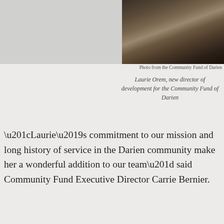[Figure (photo): Photo of Laurie Orem, new director of development for the Community Fund of Darien, seated at a desk]
Photo from the Community Fund of Darien
Laurie Orem, new director of development for the Community Fund of Darien
“Laurie’s commitment to our mission and long history of service in the Darien community make her a wonderful addition to our team” said Community Fund Executive Director Carrie Bernier.
Laurie has been an active volunteer in town for many years at the public schools, Noroton Presbyterian Church and other nonprofit boards, often in leadership positions.
Prior to raising her children, Laurie was a